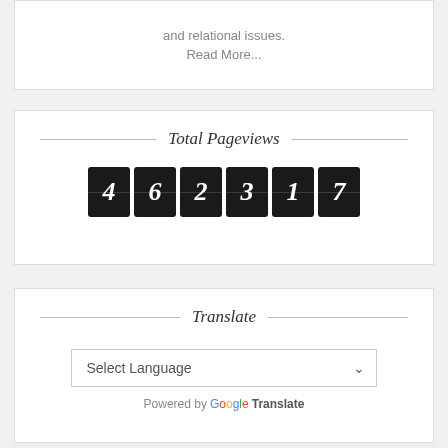and relational issues. Read More...
Total Pageviews
462317
Translate
Select Language — Powered by Google Translate